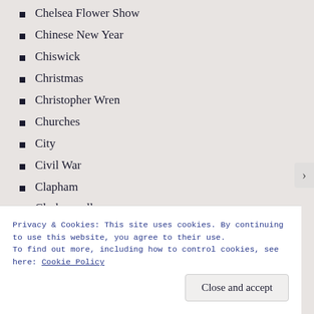Chelsea Flower Show
Chinese New Year
Chiswick
Christmas
Christopher Wren
Churches
City
Civil War
Clapham
Clerkenwell
Cockfosters
Commonwealth
coronavirus pandemic
Covent Garden
Croydon
Privacy & Cookies: This site uses cookies. By continuing to use this website, you agree to their use.
To find out more, including how to control cookies, see here: Cookie Policy